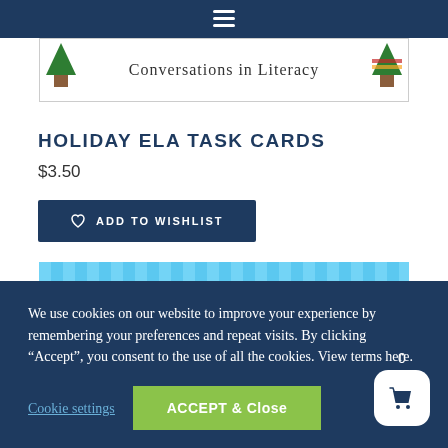[Figure (illustration): Product image banner showing 'Conversations in Literacy' with decorative trees on sides]
HOLIDAY ELA TASK CARDS
$3.50
ADD TO WISHLIST
[Figure (illustration): Blue striped background with white scalloped border at bottom]
We use cookies on our website to improve your experience by remembering your preferences and repeat visits. By clicking “Accept”, you consent to the use of all the cookies. View terms here.
Cookie settings
ACCEPT & Close